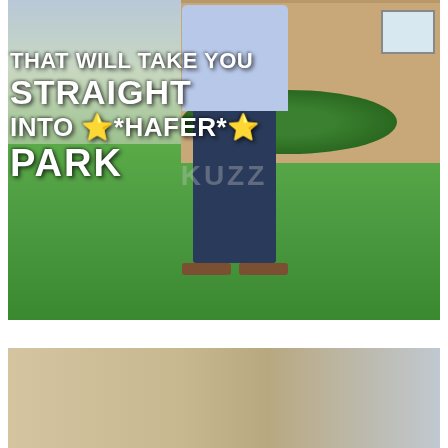[Figure (photo): A person standing on a green lawn in front of a brick house. The person is wearing a light blue shirt, dark jeans, and brown shoes. Only the torso and legs are visible (head is cut off). Green bushes and a driveway are visible in the background. Overlaid text reads: THAT WILL TAKE YOU STRAIGHT INTO ⭐*HAFER*⭐ PARK. A faint watermark is visible in the center. A white gap separates this photo from a partial second photo below.]
THAT WILL TAKE YOU STRAIGHT INTO ⭐*HAFER*⭐ PARK
[Figure (photo): Partial view of a second photo at the bottom of the page, showing what appears to be an interior or exterior scene with beige/tan tones.]